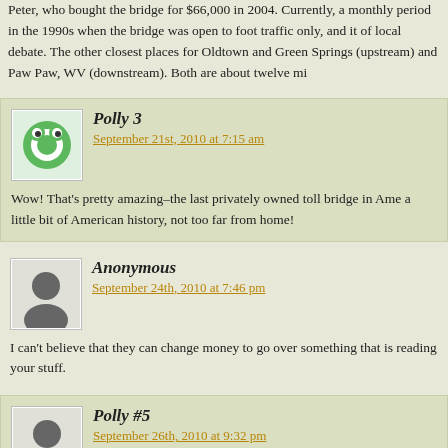Peter, who bought the bridge for $66,000 in 2004. Currently, a monthly period in the 1990s when the bridge was open to foot traffic only, and it of local debate. The other closest places for Oldtown and Green Springs (upstream) and Paw Paw, WV (downstream). Both are about twelve mi
Polly 3
September 21st, 2010 at 7:15 am
Wow! That's pretty amazing–the last privately owned toll bridge in Ame a little bit of American history, not too far from home!
Anonymous
September 24th, 2010 at 7:46 pm
I can't believe that they can change money to go over something that is reading your stuff.
Polly #5
September 26th, 2010 at 9:32 pm
Anonymous,
I know what you mean, but it is an interesting place with an interesting past. If you've ever seen the Potomac during flood stage, you'd be ama